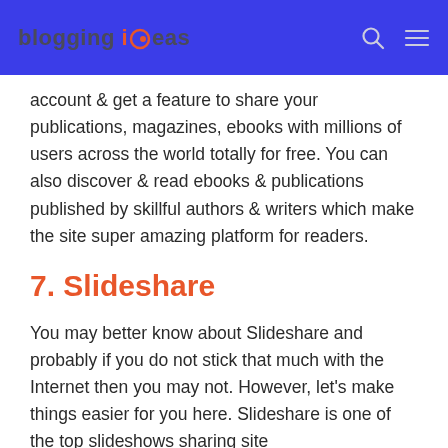blogging ideas
account & get a feature to share your publications, magazines, ebooks with millions of users across the world totally for free. You can also discover & read ebooks & publications published by skillful authors & writers which make the site super amazing platform for readers.
7. Slideshare
You may better know about Slideshare and probably if you do not stick that much with the Internet then you may not. However, let's make things easier for you here. Slideshare is one of the top slideshows sharing site